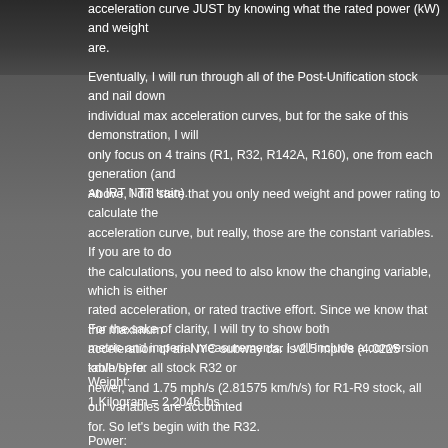acceleration curve JUST by knowing what the rated power (kW) and weight are.
Eventually, I will run through all of the Post-Unification stock and nail down individual max acceleration curves, but for the sake of this demonstration, I will only focus on 4 trains (R1, R32, R142A, R160), one from each generation (and an IRT NTT train).
Above, I did state that you only need weight and power rating to calculate the acceleration curve, but really, those are the constant variables. If you are to do the calculations, you need to also know the changing variable, which is either rated acceleration, or rated tractive effort. Since we know that the maximum acceleration of an NYC subway car is 2.5 mph/s (4.0225 km/h/s) for all stock R32 or newer, and 1.75 mph/s (2.81575 km/h/s) for R1-R9 stock, all our variables are accounted for. So let's begin with the R32.
For the sake of clarity, I will try to show both metric and imperial measurements. I will include a conversion table here:
Weight:
1 Kilogram = 2.2046 lbs
Power:
1 Kilowatt = 1.34 hp
Speed:
1 mph = 1.609 km/h